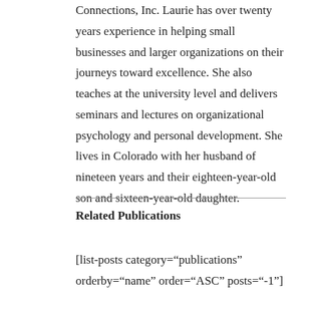Connections, Inc. Laurie has over twenty years experience in helping small businesses and larger organizations on their journeys toward excellence. She also teaches at the university level and delivers seminars and lectures on organizational psychology and personal development. She lives in Colorado with her husband of nineteen years and their eighteen-year-old son and sixteen-year-old daughter.
Related Publications
[list-posts category="publications" orderby="name" order="ASC" posts="-1"]